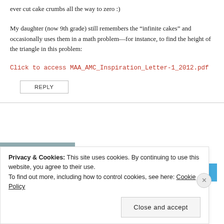ever cut cake crumbs all the way to zero :)
My daughter (now 9th grade) still remembers the “infinite cakes” and occasionally uses them in a math problem—for instance, to find the height of the triangle in this problem:
Click to access MAA_AMC_Inspiration_Letter-1_2012.pdf
REPLY
[Figure (photo): Photo of a person in a white t-shirt outdoors]
★★★★★
Get the app
Privacy & Cookies: This site uses cookies. By continuing to use this website, you agree to their use.
To find out more, including how to control cookies, see here: Cookie Policy
Close and accept